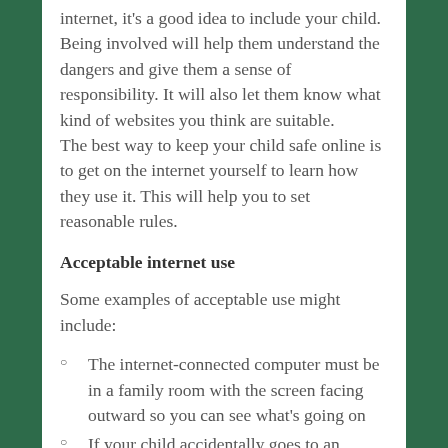internet, it's a good idea to include your child. Being involved will help them understand the dangers and give them a sense of responsibility. It will also let them know what kind of websites you think are suitable. The best way to keep your child safe online is to get on the internet yourself to learn how they use it. This will help you to set reasonable rules.
Acceptable internet use
Some examples of acceptable use might include:
The internet-connected computer must be in a family room with the screen facing outward so you can see what's going on
If your child accidentally goes to an unsuitable website they should tell you – you